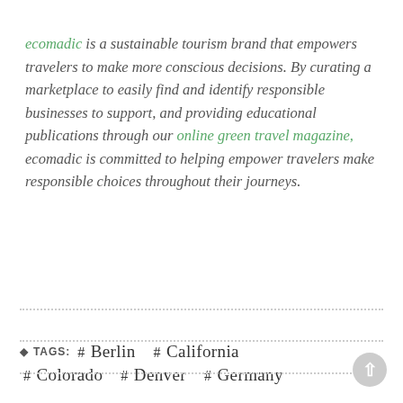ecomadic is a sustainable tourism brand that empowers travelers to make more conscious decisions. By curating a marketplace to easily find and identify responsible businesses to support, and providing educational publications through our online green travel magazine, ecomadic is committed to helping empower travelers make responsible choices throughout their journeys.
TAGS: # Berlin  # California  # Colorado  # Denver  # Germany